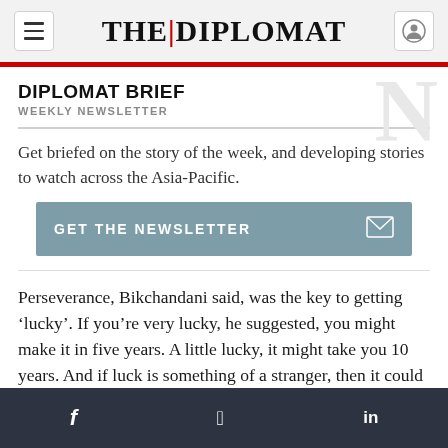THE DIPLOMAT
DIPLOMAT BRIEF
WEEKLY NEWSLETTER
Get briefed on the story of the week, and developing stories to watch across the Asia-Pacific.
GET THE NEWSLETTER
Perseverance, Bikchandani said, was the key to getting ‘lucky’. If you’re very lucky, he suggested, you might make it in five years. A little lucky, it might take you 10 years. And if luck is something of a stranger, then it could take as many as 15 years.
f  🐦  in